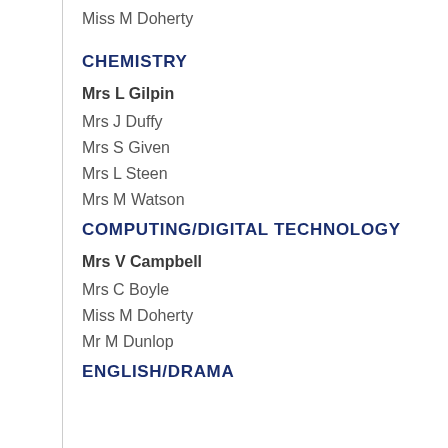Miss M Doherty
CHEMISTRY
Mrs L Gilpin
Mrs J Duffy
Mrs S Given
Mrs L Steen
Mrs M Watson
COMPUTING/DIGITAL TECHNOLOGY
Mrs V Campbell
Mrs C Boyle
Miss M Doherty
Mr M Dunlop
ENGLISH/DRAMA